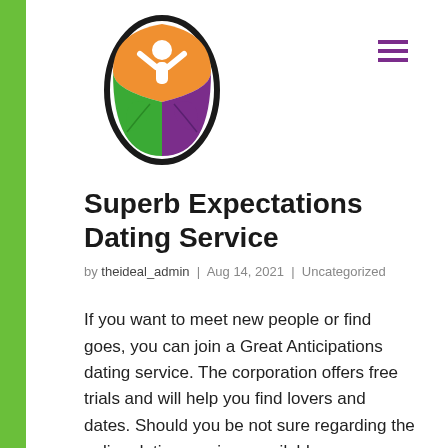[Figure (logo): Circular logo with an oval border, person figure with arms raised, orange top half, green leaf on left, purple leaf on right]
Superb Expectations Dating Service
by theideal_admin | Aug 14, 2021 | Uncategorized
If you want to meet new people or find goes, you can join a Great Anticipations dating service. The corporation offers free trials and will help you find lovers and dates. Should you be not sure regarding the online dating services available, you can call the customer service for